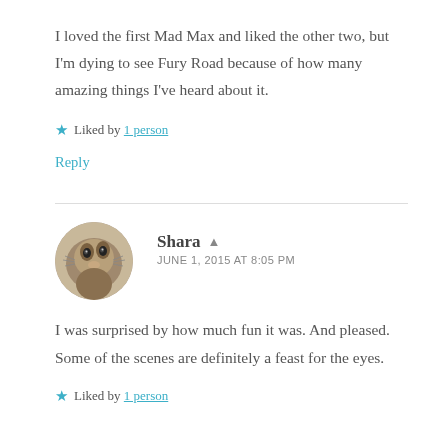I loved the first Mad Max and liked the other two, but I'm dying to see Fury Road because of how many amazing things I've heard about it.
★ Liked by 1 person
Reply
Shara ▲ JUNE 1, 2015 AT 8:05 PM
I was surprised by how much fun it was. And pleased. Some of the scenes are definitely a feast for the eyes.
★ Liked by 1 person